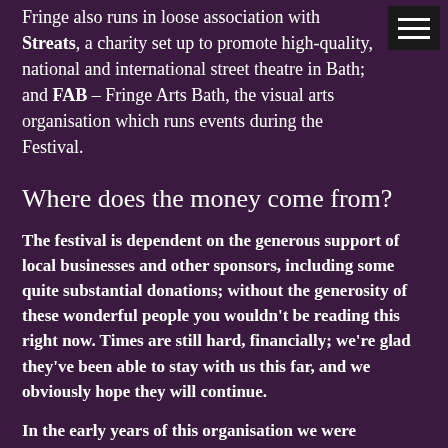Fringe also runs in loose association with Streats, a charity set up to promote high-quality, national and international street theatre in Bath; and FAB – Fringe Arts Bath, the visual arts organisation which runs events during the Festival.
Where does the money come from?
The festival is dependent on the generous support of local businesses and other sponsors, including some quite substantial donations; without the generosity of these wonderful people you wouldn't be reading this right now. Times are still hard, financially; we're glad they've been able to stay with us this far, and we obviously hope they will continue.
In the early years of this organisation we were regularly